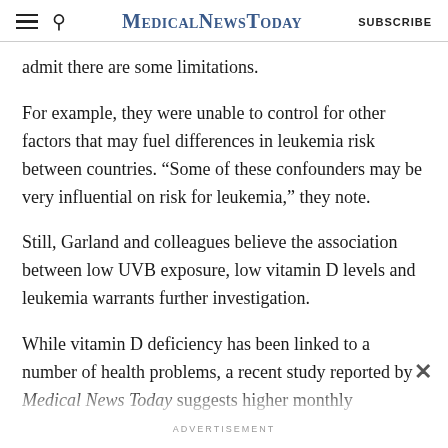MedicalNewsToday SUBSCRIBE
admit there are some limitations.
For example, they were unable to control for other factors that may fuel differences in leukemia risk between countries. “Some of these confounders may be very influential on risk for leukemia,” they note.
Still, Garland and colleagues believe the association between low UVB exposure, low vitamin D levels and leukemia warrants further investigation.
While vitamin D deficiency has been linked to a number of health problems, a recent study reported by Medical News Today suggests higher monthly...
ADVERTISEMENT